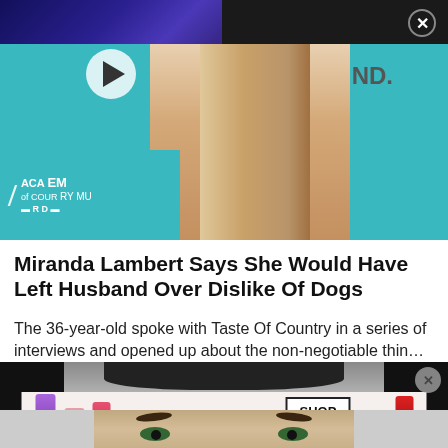Exclusive: Eli Young Band
[Figure (screenshot): Video thumbnail of a concert scene with purple stage lighting and a play button overlay]
[Figure (photo): Photo of a woman at an Academy of Country Music event, partial view showing ACM logo backdrop and ND branding]
Miranda Lambert Says She Would Have Left Husband Over Dislike Of Dogs
The 36-year-old spoke with Taste Of Country in a series of interviews and opened up about the non-negotiable thin…
[Figure (photo): Advertisement featuring MAC cosmetics lipsticks with SHOP NOW button, overlaid on a photo of a man's face]
[Figure (photo): Bottom portion of a man's face showing eyes with green irises]